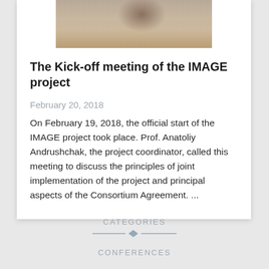[Figure (photo): A partial photo of a man at a meeting table, cropped at the top of the card]
The Kick-off meeting of the IMAGE project
February 20, 2018
On February 19, 2018, the official start of the IMAGE project took place. Prof. Anatoliy Andrushchak, the project coordinator, called this meeting to discuss the principles of joint implementation of the project and principal aspects of the Consortium Agreement. ...
CATEGORIES
CONFERENCES